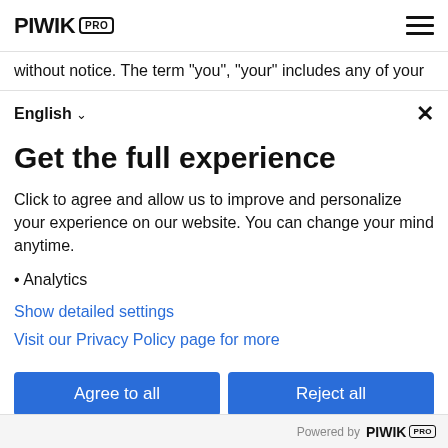PIWIK PRO
without notice. The term "you", "your" includes any of your
English ✓
Get the full experience
Click to agree and allow us to improve and personalize your experience on our website. You can change your mind anytime.
Analytics
Show detailed settings
Visit our Privacy Policy page for more
Agree to all
Reject all
Save choices
Powered by PIWIK PRO